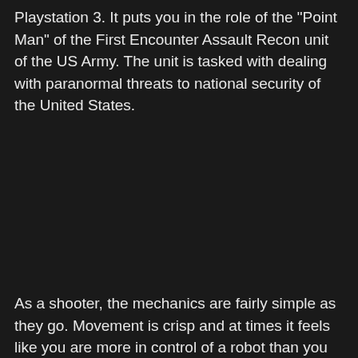Playstation 3. It puts you in the role of the "Point Man" of the First Encounter Assault Recon unit of the US Army. The unit is tasked with dealing with paranormal threats to national security of the United States.
As a shooter, the mechanics are fairly simple as they go. Movement is crisp and at times it feels like you are more in control of a robot than you are in control of a human. The